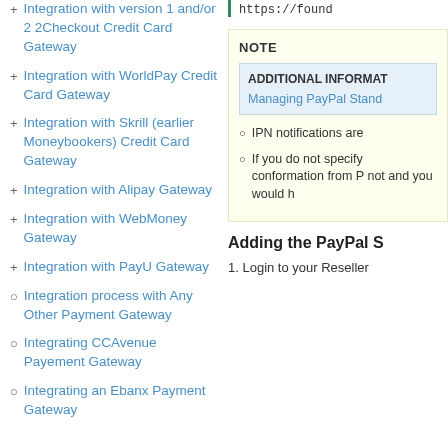+ Integration with version 1 and/or 2 2Checkout Credit Card Gateway
+ Integration with WorldPay Credit Card Gateway
+ Integration with Skrill (earlier Moneybookers) Credit Card Gateway
+ Integration with Alipay Gateway
+ Integration with WebMoney Gateway
+ Integration with PayU Gateway
○ Integration process with Any Other Payment Gateway
○ Integrating CCAvenue Payement Gateway
○ Integrating an Ebanx Payment Gateway
https://found
NOTE
ADDITIONAL INFORMAT
Managing PayPal Stand
○ IPN notifications are
○ If you do not specify conformation from P not and you would h
Adding the PayPal S
1. Login to your Reseller